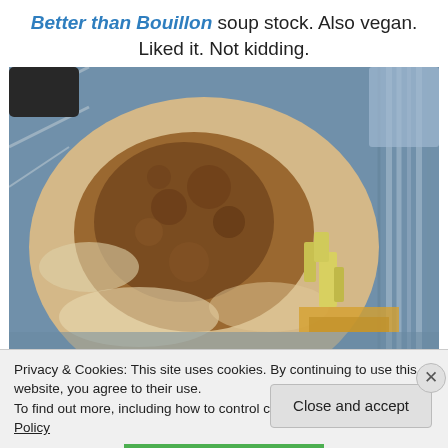Better than Bouillon soup stock. Also vegan. Liked it. Not kidding.
[Figure (photo): Close-up photo of a toasted English muffin sandwich in a container, showing the browned top of the muffin with some filling visible on the right side including what appears to be cheese and other ingredients.]
Privacy & Cookies: This site uses cookies. By continuing to use this website, you agree to their use.
To find out more, including how to control cookies, see here: Cookie Policy